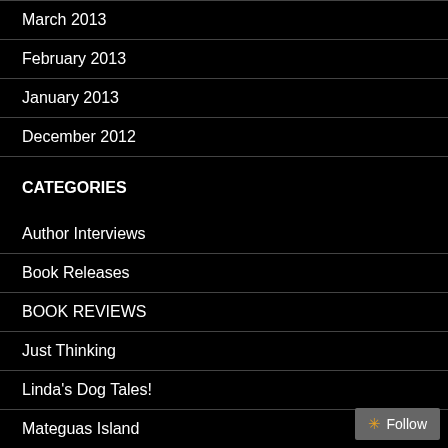March 2013
February 2013
January 2013
December 2012
CATEGORIES
Author Interviews
Book Releases
BOOK REVIEWS
Just Thinking
Linda's Dog Tales!
Mateguas Island